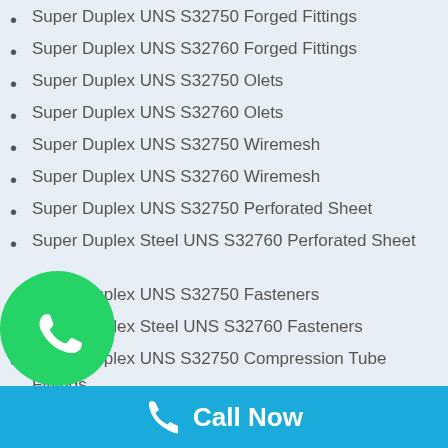Super Duplex UNS S32750 Forged Fittings
Super Duplex UNS S32760 Forged Fittings
Super Duplex UNS S32750 Olets
Super Duplex UNS S32760 Olets
Super Duplex UNS S32750 Wiremesh
Super Duplex UNS S32760 Wiremesh
Super Duplex UNS S32750 Perforated Sheet
Super Duplex Steel UNS S32760 Perforated Sheet
Super Duplex UNS S32750 Fasteners
Super Duplex Steel UNS S32760 Fasteners
Super Duplex UNS S32750 Compression Tube Fittings
Super Duplex Steel UNS S32760 Compression Tube Fittings
Super Duplex UNS S32750 Filler Wire